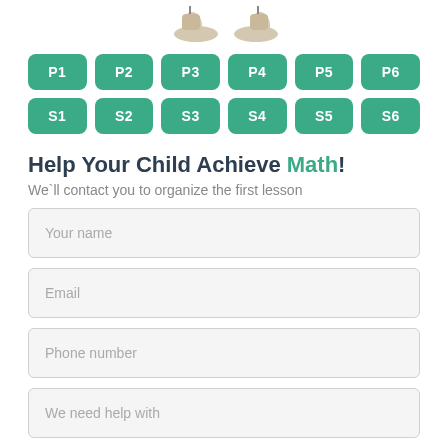[Figure (illustration): Two illustrated feet/shoes at top of page]
P1
P2
P3
P4
P5
P6
S1
S2
S3
S4
S5
S6
Help Your Child Achieve Math!
We`ll contact you to organize the first lesson
Your name
Email
Phone number
We need help with